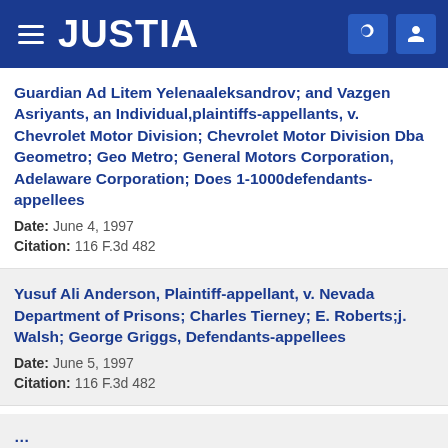JUSTIA
Guardian Ad Litem Yelenaaleksandrov; and Vazgen Asriyants, an Individual,plaintiffs-appellants, v. Chevrolet Motor Division; Chevrolet Motor Division Dba Geometro; Geo Metro; General Motors Corporation, Adelaware Corporation; Does 1-1000defendants-appellees
Date: June 4, 1997
Citation: 116 F.3d 482
Yusuf Ali Anderson, Plaintiff-appellant, v. Nevada Department of Prisons; Charles Tierney; E. Roberts;j. Walsh; George Griggs, Defendants-appellees
Date: June 5, 1997
Citation: 116 F.3d 482